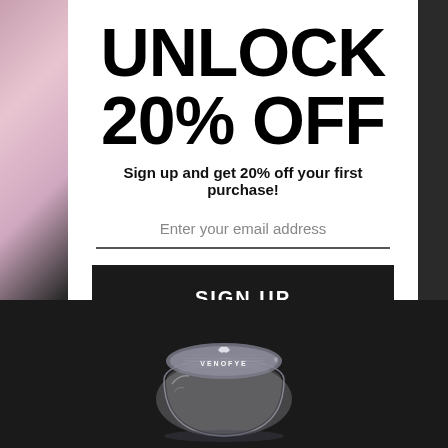UNLOCK 20% OFF
Sign up and get 20% off your first purchase!
Enter your email address
SIGN UP
No thanks, I'll pay full price
[Figure (photo): Venofye branded cosmetic product in a glass/crystal jar with silver lid, photographed on a dark background]